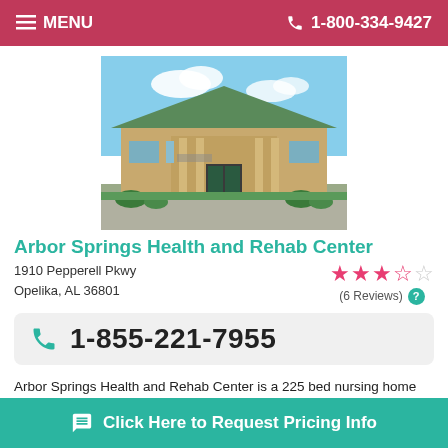MENU   1-800-334-9427
[Figure (photo): Exterior photo of Arbor Springs Health and Rehab Center building with green roof and columns]
Arbor Springs Health and Rehab Center
1910 Pepperell Pkwy
Opelika, AL 36801
(6 Reviews)
1-855-221-7955
Arbor Springs Health and Rehab Center is a 225 bed nursing home facility. It is located at 1910 Pepperell Pkwy in $
Click Here to Request Pricing Info